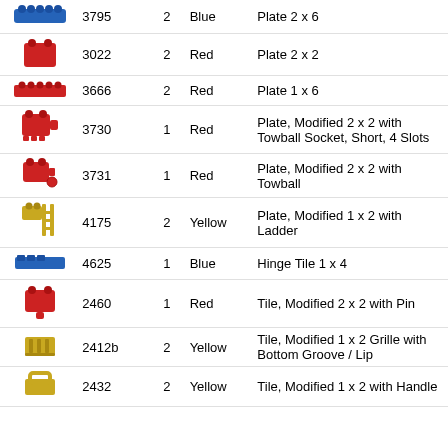| Image | Part # | Qty | Color | Name |
| --- | --- | --- | --- | --- |
| [blue plate] | 3795 | 2 | Blue | Plate 2 x 6 |
| [red plate] | 3022 | 2 | Red | Plate 2 x 2 |
| [red plate] | 3666 | 2 | Red | Plate 1 x 6 |
| [red plate] | 3730 | 1 | Red | Plate, Modified 2 x 2 with Towball Socket, Short, 4 Slots |
| [red plate] | 3731 | 1 | Red | Plate, Modified 2 x 2 with Towball |
| [yellow] | 4175 | 2 | Yellow | Plate, Modified 1 x 2 with Ladder |
| [blue] | 4625 | 1 | Blue | Hinge Tile 1 x 4 |
| [red] | 2460 | 1 | Red | Tile, Modified 2 x 2 with Pin |
| [yellow] | 2412b | 2 | Yellow | Tile, Modified 1 x 2 Grille with Bottom Groove / Lip |
| [yellow] | 2432 | 2 | Yellow | Tile, Modified 1 x 2 with Handle |